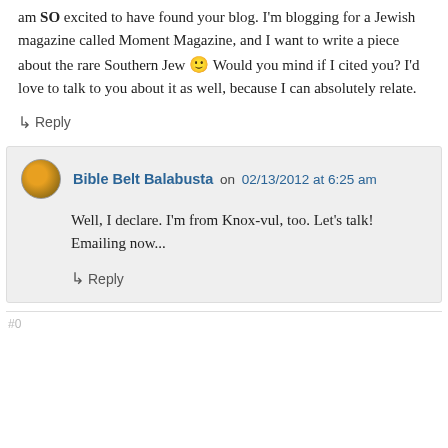am SO excited to have found your blog. I'm blogging for a Jewish magazine called Moment Magazine, and I want to write a piece about the rare Southern Jew 🙂 Would you mind if I cited you? I'd love to talk to you about it as well, because I can absolutely relate.
↳ Reply
Bible Belt Balabusta on 02/13/2012 at 6:25 am
Well, I declare. I'm from Knox-vul, too. Let's talk! Emailing now...
↳ Reply